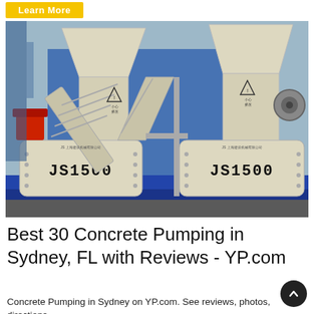[Figure (photo): Yellow 'Learn More' button on white banner at top of page]
[Figure (photo): Photo of two JS1500 concrete mixers on a blue platform in an industrial yard. The machines are cream/beige colored with large cylindrical drums labeled JS1500, hoppers on top, and red mechanical components visible on the left.]
Best 30 Concrete Pumping in Sydney, FL with Reviews - YP.com
Concrete Pumping in Sydney on YP.com. See reviews, photos, directions,